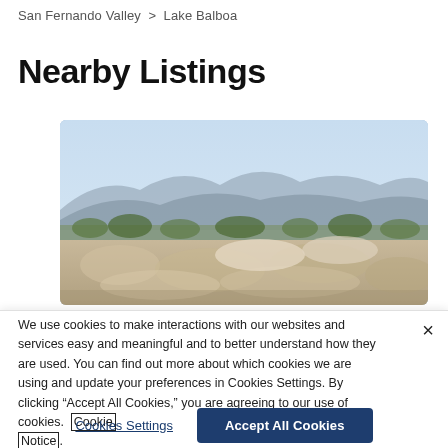San Fernando Valley > Lake Balboa
Nearby Listings
[Figure (photo): Aerial landscape photo of Lake Balboa area showing mountains in background and urban terrain with rocky/sandy foreground]
We use cookies to make interactions with our websites and services easy and meaningful and to better understand how they are used. You can find out more about which cookies we are using and update your preferences in Cookies Settings. By clicking “Accept All Cookies,” you are agreeing to our use of cookies. Cookie Notice.
Cookies Settings | Accept All Cookies